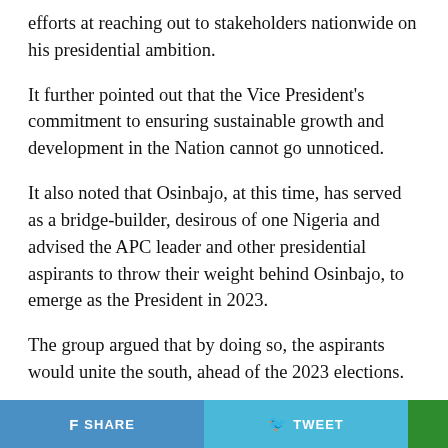efforts at reaching out to stakeholders nationwide on his presidential ambition.
It further pointed out that the Vice President's commitment to ensuring sustainable growth and development in the Nation cannot go unnoticed.
It also noted that Osinbajo, at this time, has served as a bridge-builder, desirous of one Nigeria and advised the APC leader and other presidential aspirants to throw their weight behind Osinbajo, to emerge as the President in 2023.
The group argued that by doing so, the aspirants would unite the south, ahead of the 2023 elections.
It added that the level of support the vice president has garnered over the past two weeks of consultation across
SHARE   TWEET